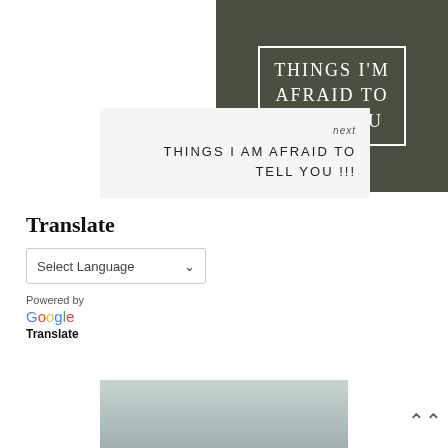[Figure (photo): Dark chalkboard-style image with white text reading THINGS I'M AFRAID TO TELL YOU inside a white border rectangle]
[Figure (illustration): Light gray card with 'next' label and text THINGS I AM AFRAID TO TELL YOU !!!]
Translate
[Figure (screenshot): Google Translate widget with Select Language dropdown, Powered by Google Translate label]
[Figure (photo): Photo of a woman smiling, in front of a door with plants]